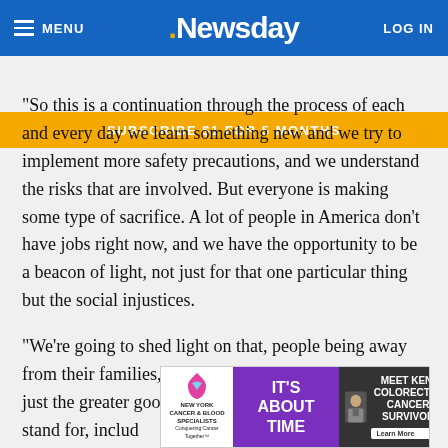MENU | .Newsday | LOG IN
SUBSCRIBE $1 FOR 5 MONTHS
"So this is a continuation through the process of each and every day we learn something new and we try to implement more safety precautions, and we understand the risks that are involved. But everyone is making some type of sacrifice. A lot of people in America don't have jobs right now, and we have the opportunity to be a beacon of light, not just for that one particular thing but the social injustices.
"We're going to shed light on that, people being away from their families, understanding that sacrifice, but just the greater good of everything that our players stand for, includ [ad overlay] e game o [ad overlay] en the
[Figure (advertisement): Ad banner with New York Cancer & Blood Specialists logo on left, purple section reading IT'S ABOUT TIME in center, and dark section reading MEET KEN: COLORECTAL CANCER SURVIVOR with Learn More button on right.]